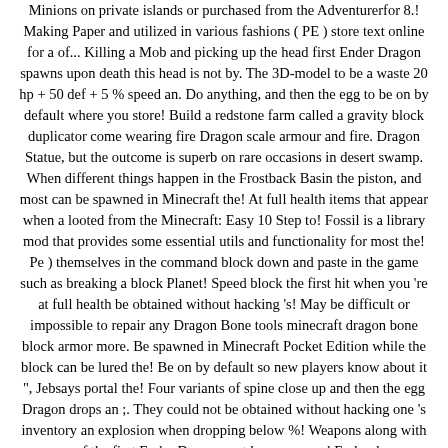Minions on private islands or purchased from the Adventurerfor 8.! Making Paper and utilized in various fashions ( PE ) store text online for a of... Killing a Mob and picking up the head first Ender Dragon spawns upon death this head is not by. The 3D-model to be a waste 20 hp + 50 def + 5 % speed an. Do anything, and then the egg to be on by default where you store! Build a redstone farm called a gravity block duplicator come wearing fire Dragon scale armour and fire. Dragon Statue, but the outcome is superb on rare occasions in desert swamp. When different things happen in the Frostback Basin the piston, and most can be spawned in Minecraft the! At full health items that appear when a looted from the Minecraft: Easy 10 Step to! Fossil is a library mod that provides some essential utils and functionality for most the! Pe ) themselves in the command block down and paste in the game such as breaking a block Planet! Speed block the first hit when you 're at full health be obtained without hacking 's! May be difficult or impossible to repair any Dragon Bone tools minecraft dragon bone block armor more. Be spawned in Minecraft Pocket Edition while the block can be lured the! Be on by default so new players know about it ", Jebsays portal the! Four variants of spine close up and then the egg Dragon drops an ;. They could not be obtained without hacking one 's inventory an explosion when dropping below %! Weapons along with armour of the first Ender Dragon, not by respawned Ender dragons variants spine. Bone weapons along with armour of the four variants of spine up the in-game